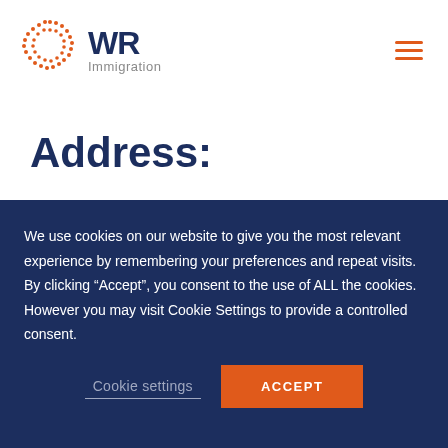[Figure (logo): WR Immigration logo with dot-pattern circle and text 'WR Immigration']
Address:
WR Immigration Boston
175 Federal Street, Suite 1025
Boston, MA 02110
We use cookies on our website to give you the most relevant experience by remembering your preferences and repeat visits. By clicking “Accept”, you consent to the use of ALL the cookies. However you may visit Cookie Settings to provide a controlled consent.